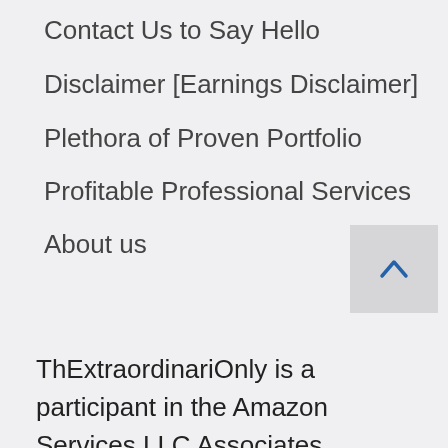Contact Us to Say Hello
Disclaimer [Earnings Disclaimer]
Plethora of Proven Portfolio
Profitable Professional Services
About us
ThExtraordinariOnly is a participant in the Amazon Services LLC Associates Program, an affiliate advertising program designed to provide a means for sites to